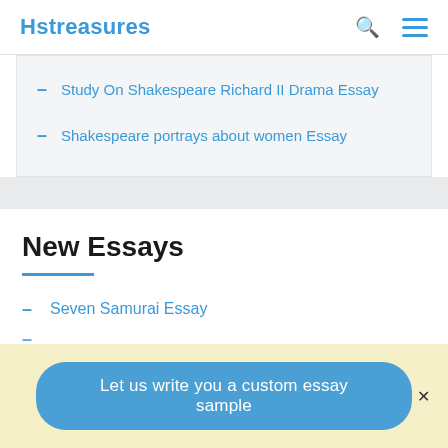Hstreasures
Study On Shakespeare Richard II Drama Essay
Shakespeare portrays about women Essay
New Essays
Seven Samurai Essay
Let us write you a custom essay sample